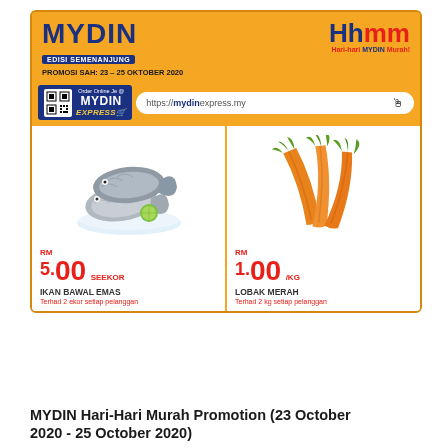[Figure (infographic): MYDIN Hari-Hari Murah promotional flyer for 23-25 October 2020, showing two grocery products: Ikan Bawal Emas (golden pomfret fish) at RM5.00/seekor and Lobak Merah (carrots) at RM1.00/kg, with MYDIN Express online ordering details and QR code.]
MYDIN Hari-Hari Murah Promotion (23 October 2020 - 25 October 2020)